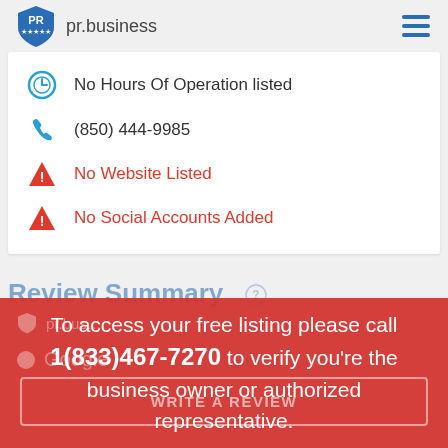pr.business
No Hours Of Operation listed
(850) 444-9985
No Website Listed
No Social Accounts Added
Review Summary
To access your free listing please call 1(833)467-7270 to verify you're the business owner or authorized representative.